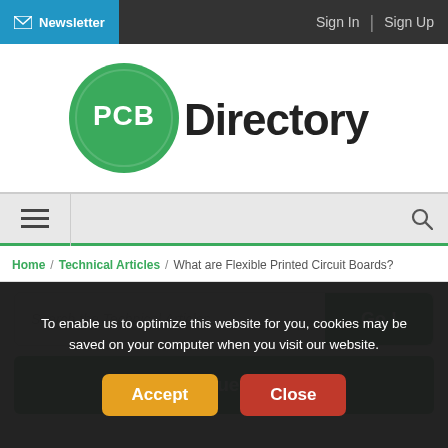Newsletter | Sign In | Sign Up
[Figure (logo): PCB Directory logo — green circle with PCB text and 'Directory' in black]
Home / Technical Articles / What are Flexible Printed Circuit Boards?
Search the Technical Articles... Go !
Ask a Question ?
To enable us to optimize this website for you, cookies may be saved on your computer when you visit our website.
Accept
Close